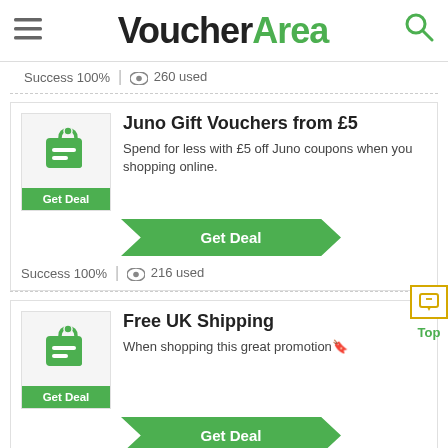VoucherArea
Success 100% | 260 used
Juno Gift Vouchers from £5
Spend for less with £5 off Juno coupons when you shopping online.
Get Deal
Success 100% | 216 used
Free UK Shipping
When shopping this great promotion🔖
Get Deal
Success 100% | 274 used